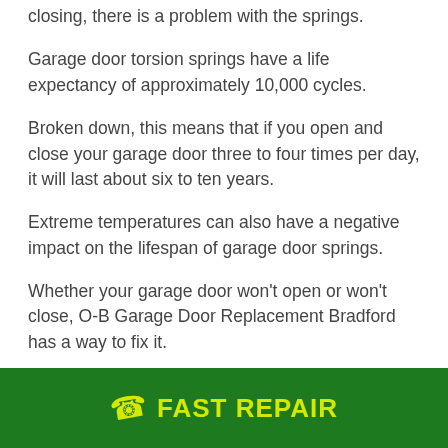closing, there is a problem with the springs.
Garage door torsion springs have a life expectancy of approximately 10,000 cycles.
Broken down, this means that if you open and close your garage door three to four times per day, it will last about six to ten years.
Extreme temperatures can also have a negative impact on the lifespan of garage door springs.
Whether your garage door won't open or won't close, O-B Garage Door Replacement Bradford has a way to fix it.
FAST REPAIR